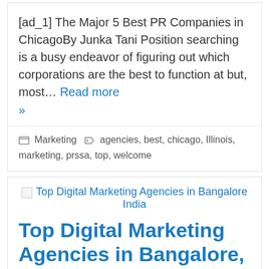[ad_1] The Major 5 Best PR Companies in ChicagoBy Junka Tani Position searching is a busy endeavor of figuring out which corporations are the best to function at but, most... Read more »
Marketing   agencies, best, chicago, Illinois, marketing, prssa, top, welcome
[Figure (photo): Broken image placeholder for Top Digital Marketing Agencies in Bangalore India]
Top Digital Marketing Agencies in Bangalore, India
[ad_1] There are far more than 1279 advanced showcasing places of work in India, and the range